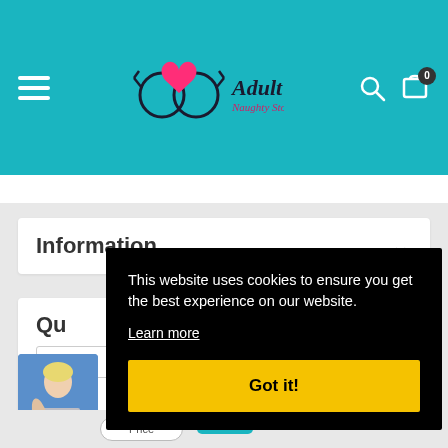[Figure (logo): Adult Naughty Store logo with heart and circular symbols]
Information
Qu
[Figure (photo): Blonde woman posing, thumbnail image]
This website uses cookies to ensure you get the best experience on our website.
Learn more
Got it!